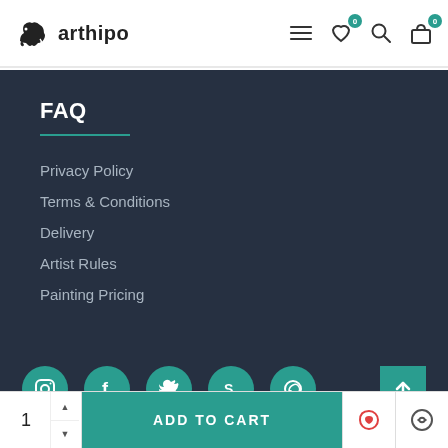arthipo
FAQ
Privacy Policy
Terms & Conditions
Delivery
Artist Rules
Painting Pricing
[Figure (other): Social media icons row: Instagram, Facebook, Twitter, Skype, WhatsApp circles in teal, and a back-to-top teal square button]
ADD TO CART